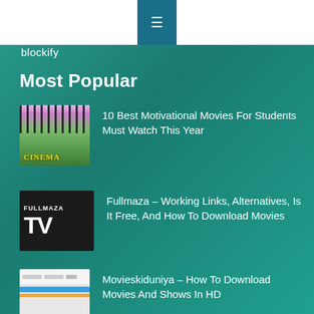☰
blockify
Most Popular
[Figure (photo): Thumbnail image showing cinema sign with gold letters on green background with iron fence]
10 Best Motivational Movies For Students Must Watch This Year
[Figure (logo): Fullmaza TV logo - black background with white bold text reading FULLMAZA TV]
Fullmaza – Working Links, Alternatives, Is It Free, And How To Download Movies
[Figure (screenshot): Screenshot of Movieskiduniya website showing movie posters]
Movieskiduniya – How To Download Movies And Shows In HD